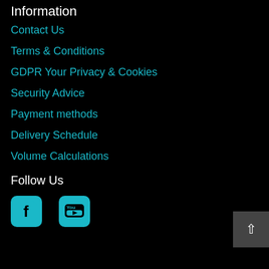Information
Contact Us
Terms & Conditions
GDPR Your Privacy & Cookies
Security Advice
Payment methods
Delivery Schedule
Volume Calculations
Follow Us
[Figure (illustration): Facebook and YouTube social media icons in cyan/teal color on black background]